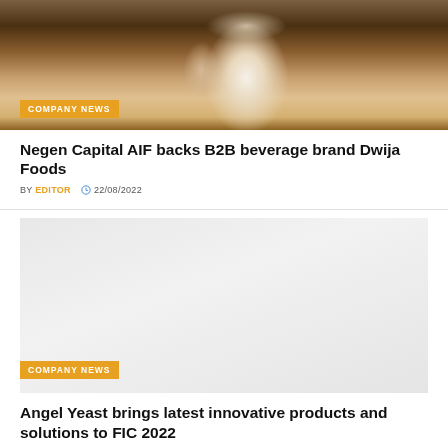[Figure (photo): Photo of a coffee cup with steam, with coffee beans and pastry in the background, warm tones]
COMPANY NEWS
Negen Capital AIF backs B2B beverage brand Dwija Foods
BY EDITOR  22/08/2022
[Figure (photo): Light gray placeholder image with COMPANY NEWS badge]
COMPANY NEWS
Angel Yeast brings latest innovative products and solutions to FIC 2022